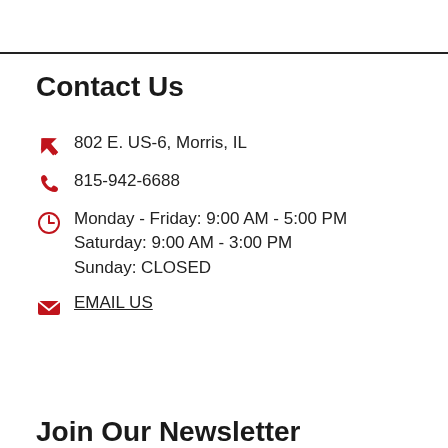Contact Us
802 E. US-6, Morris, IL
815-942-6688
Monday - Friday: 9:00 AM - 5:00 PM
Saturday: 9:00 AM - 3:00 PM
Sunday: CLOSED
EMAIL US
Join Our Newsletter